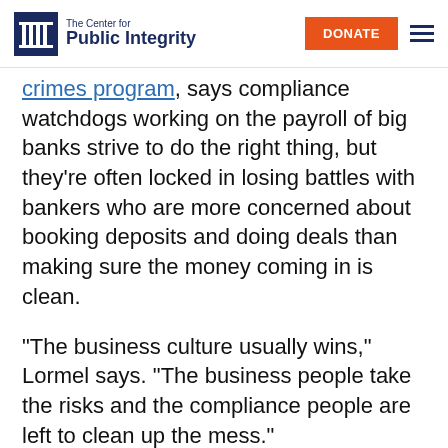The Center for Public Integrity | DONATE
crimes program, says compliance watchdogs working on the payroll of big banks strive to do the right thing, but they’re often locked in losing battles with bankers who are more concerned about booking deposits and doing deals than making sure the money coming in is clean.
“The business culture usually wins,” Lormel says. “The business people take the risks and the compliance people are left to clean up the mess.”
Offshore Players
(Tr...